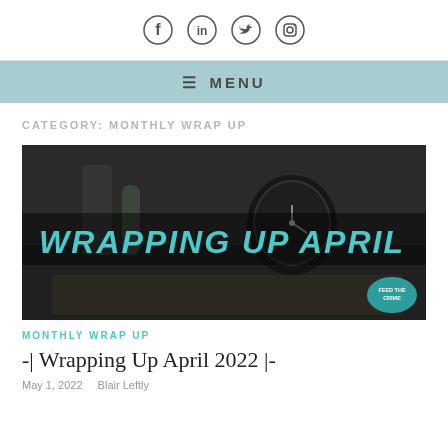[Figure (illustration): Social media icons: Facebook, LinkedIn, Twitter, Instagram in a row]
≡ MENU
CATEGORY: MONTHLY WRAP UP
[Figure (photo): Dark moody desk photo with glasses, bottle, alarm clock, open book, overlaid with teal graffiti text 'WRAPPING UP APRIL' and a 'Feed the Crime' logo badge]
MONTHLY WRAP UP
-| Wrapping Up April 2022 |-
May 1, 2022   Blair Leftly